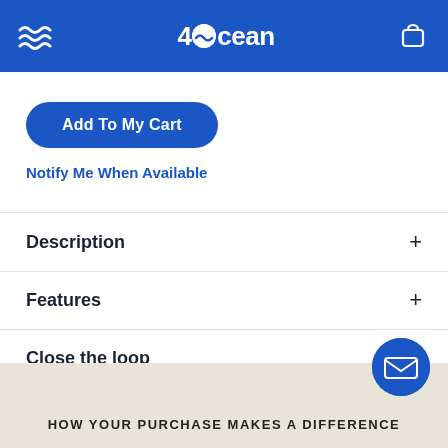4ocean
Add To My Cart
Notify Me When Available
Description
Features
Close the loop
HOW YOUR PURCHASE MAKES A DIFFERENCE